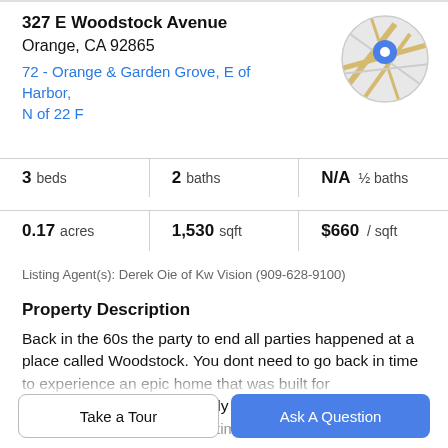327 E Woodstock Avenue
Orange, CA 92865
72 - Orange & Garden Grove, E of Harbor, N of 22 F
[Figure (map): Circular map thumbnail showing streets with a blue location pin marker]
3 beds | 2 baths | N/A ½ baths
0.17 acres | 1,530 sqft | $660 / sqft
Listing Agent(s): Derek Oie of Kw Vision (909-628-9100)
Property Description
Back in the 60s the party to end all parties happened at a place called Woodstock. You dont need to go back in time to experience an epic home that was built for entertainment. This absolutely gorgeous pool home is ready to rock and roll just in time for your own summer of